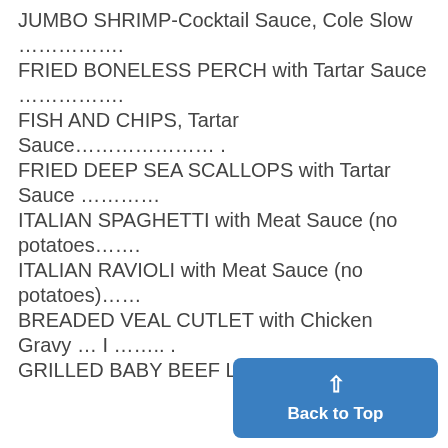JUMBO SHRIMP-Cocktail Sauce, Cole Slow
................
FRIED BONELESS PERCH with Tartar Sauce
................
FISH AND CHIPS, Tartar Sauce………………… .
FRIED DEEP SEA SCALLOPS with Tartar Sauce …………
ITALIAN SPAGHETTI with Meat Sauce (no potatoes…….
ITALIAN RAVIOLI with Meat Sauce (no potatoes)……
BREADED VEAL CUTLET with Chicken Gravy … I …….. .
GRILLED BABY BEEF LIVER with